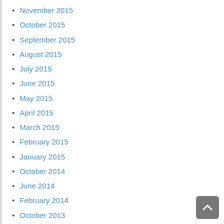November 2015
October 2015
September 2015
August 2015
July 2015
June 2015
May 2015
April 2015
March 2015
February 2015
January 2015
October 2014
June 2014
February 2014
October 2013
August 2013
July 2013
March 2013
February 2013
January 2013
April 2012